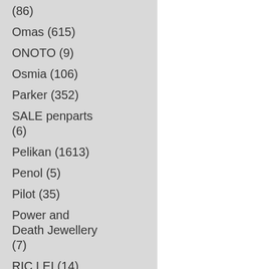(86)
Omas (615)
ONOTO (9)
Osmia (106)
Parker (352)
SALE penparts (6)
Pelikan (1613)
Penol (5)
Pilot (35)
Power and Death Jewellery (7)
RIC LEI (14)
Rohrer Klingner (18)
Rotring (162)
Stipula (7)